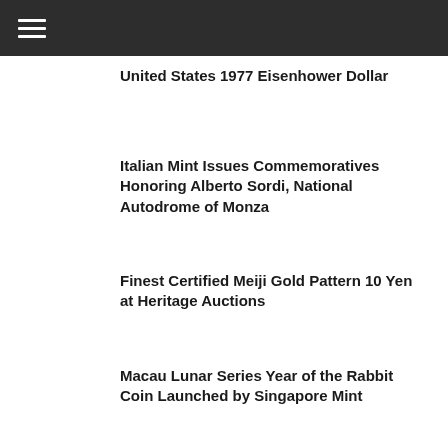≡
United States 1977 Eisenhower Dollar
Italian Mint Issues Commemoratives Honoring Alberto Sordi, National Autodrome of Monza
Finest Certified Meiji Gold Pattern 10 Yen at Heritage Auctions
Macau Lunar Series Year of the Rabbit Coin Launched by Singapore Mint
Final Coin in World of David Williams Coin